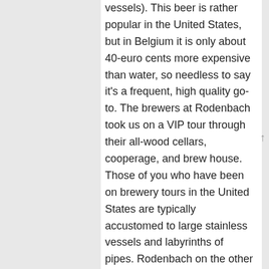vessels).  This beer is rather popular in the United States, but in Belgium it is only about 40-euro cents more expensive than water, so needless to say it's a frequent, high quality go-to.  The brewers at Rodenbach took us on a VIP tour through their all-wood cellars, cooperage, and brew house.  Those of you who have been on brewery tours in the United States are typically accustomed to large stainless vessels and labyrinths of pipes.  Rodenbach on the other hand is still true to its roots.  After primary fermentation the beer is aged the oak foeders.  These same tanks have been